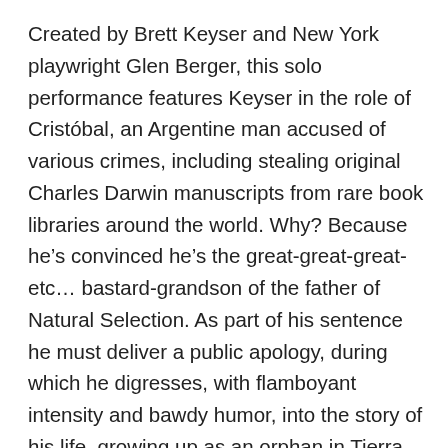Created by Brett Keyser and New York playwright Glen Berger, this solo performance features Keyser in the role of Cristóbal, an Argentine man accused of various crimes, including stealing original Charles Darwin manuscripts from rare book libraries around the world. Why? Because he's convinced he's the great-great-great-etc… bastard-grandson of the father of Natural Selection. As part of his sentence he must deliver a public apology, during which he digresses, with flamboyant intensity and bawdy humor, into the story of his life, growing up as an orphan in Tierra del Fuego and inadvertently becoming an expert Darwinologist (not to mention an international criminal), exploiting every opportunity to prove his pedigree. The performance is a tango-tinged dance of life, a fresh take on some of Darwin's ideas about the struggle for survival,